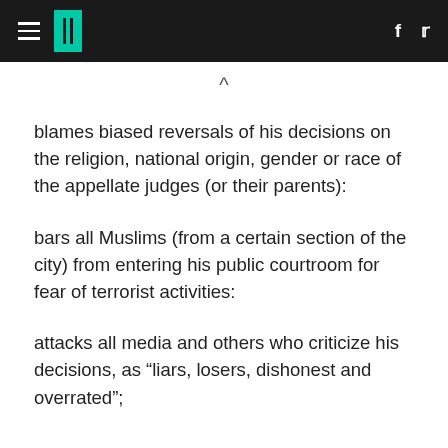HuffPost header with hamburger menu, logo, Facebook and Twitter icons
blames biased reversals of his decisions on the religion, national origin, gender or race of the appellate judges (or their parents):
bars all Muslims (from a certain section of the city) from entering his public courtroom for fear of terrorist activities:
attacks all media and others who criticize his decisions, as “liars, losers, dishonest and overrated”;